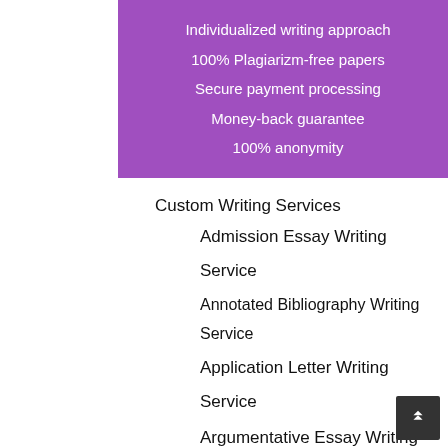Individualized writing approach
100% Plagiarizm-free papers
Secure payment processing
Money-back guarantee
100% anonymity
Custom Writing Services
Admission Essay Writing Service
Annotated Bibliography Writing Service
Application Letter Writing Service
Argumentative Essay Writing Service
Article Review Writing Service
Biography Writing Service
Book Review Writing Service
Business Plan Writing Service